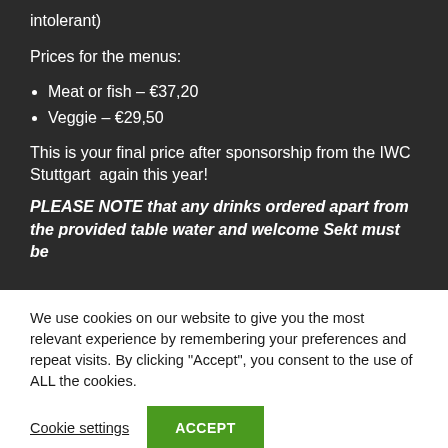intolerant)
Prices for the menus:
Meat or fish – €37,20
Veggie – €29,50
This is your final price after sponsorship from the IWC Stuttgart  again this year!
PLEASE NOTE that any drinks ordered apart from the provided table water and welcome Sekt must be
We use cookies on our website to give you the most relevant experience by remembering your preferences and repeat visits. By clicking "Accept", you consent to the use of ALL the cookies.
Cookie settings
ACCEPT